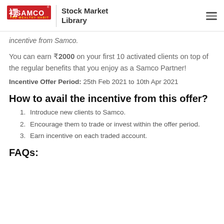SAMCO | Stock Market Library
incentive from Samco.
You can earn ₹2000 on your first 10 activated clients on top of the regular benefits that you enjoy as a Samco Partner!
Incentive Offer Period: 25th Feb 2021 to 10th Apr 2021
How to avail the incentive from this offer?
Introduce new clients to Samco.
Encourage them to trade or invest within the offer period.
Earn incentive on each traded account.
FAQs: